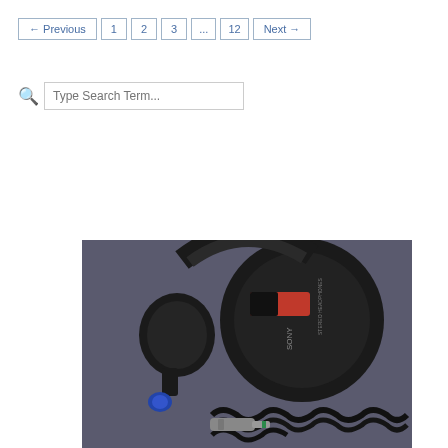← Previous  1  2  3  ...  12  Next →
Type Search Term...
[Figure (photo): Close-up photo of Sony stereo headphones (black, with red label) lying on a dark surface, with a coiled cable and large audio jack connector visible.]